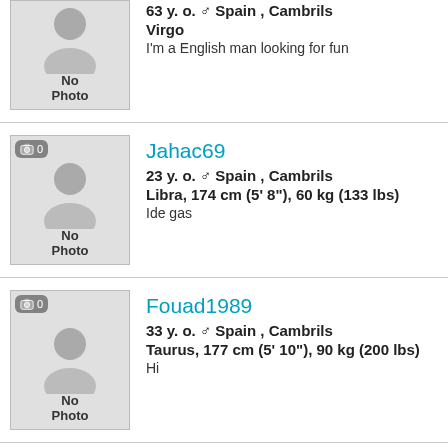[Figure (illustration): No Photo avatar for first user (partial, top cut off), no camera badge visible]
63 y. o. ♂ Spain , Cambrils
Virgo
I'm a English man looking for fun
[Figure (illustration): No Photo avatar for Jahac69, camera badge showing 0]
Jahac69
23 y. o. ♂ Spain , Cambrils
Libra, 174 cm (5' 8"), 60 kg (133 lbs)
Ide gas
[Figure (illustration): No Photo avatar for Fouad1989, camera badge showing 0]
Fouad1989
33 y. o. ♂ Spain , Cambrils
Taurus, 177 cm (5' 10"), 90 kg (200 lbs)
Hi
[Figure (illustration): No Photo avatar for TheWhiz, camera badge showing 0, partially visible]
TheWhiz
27 y. o. ♂ Spain , Cambrils